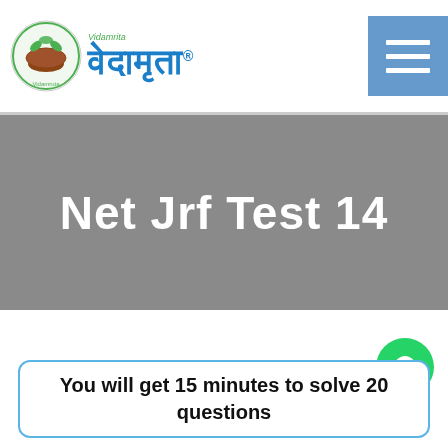Vedamrita — Net Jrf Test 14 website header with logo and navigation
Net Jrf Test 14
You will get 15 minutes to solve 20 questions